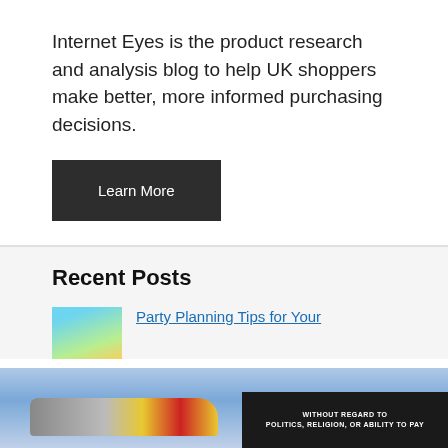Internet Eyes is the product research and analysis blog to help UK shoppers make better, more informed purchasing decisions.
[Figure (other): Dark button labeled 'Learn More']
Recent Posts
[Figure (photo): Thumbnail image for 'Party Planning Tips for Your' post — colorful image]
Party Planning Tips for Your
[Figure (photo): Cargo plane being loaded on tarmac; overlaid with dark banner reading 'WITHOUT REGARD TO POLITICS, RELIGION, OR ABILITY TO PAY']